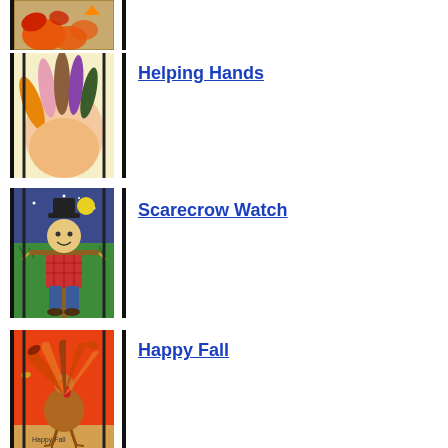[Figure (photo): Top-cropped image of a paper bag craft with orange and red leaf/pumpkin shapes on a wooden surface]
[Figure (photo): Children's drawing of colorful overlapping hands in various skin tones, with black borders on sides]
Helping Hands
[Figure (photo): Children's crayon drawing of a scarecrow with hat standing in a green field under a night sky with yellow moon]
Scarecrow Watch
[Figure (photo): Children's art of a turkey with fall leaves on an orange/red background with text 'Happy Fall' at bottom]
Happy Fall